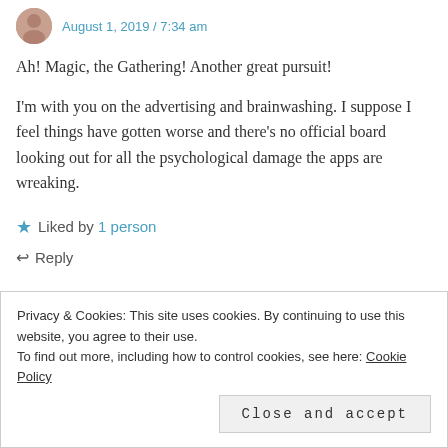August 1, 2019 / 7:34 am
Ah! Magic, the Gathering! Another great pursuit!
I'm with you on the advertising and brainwashing. I suppose I feel things have gotten worse and there's no official board looking out for all the psychological damage the apps are wreaking.
★ Liked by 1 person
↩ Reply
Privacy & Cookies: This site uses cookies. By continuing to use this website, you agree to their use. To find out more, including how to control cookies, see here: Cookie Policy
Close and accept